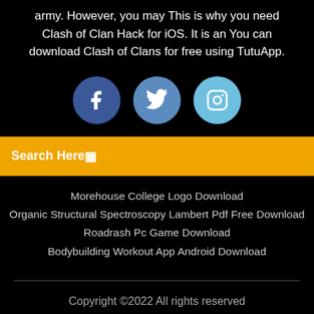army. However, you may This is why you need Clash of Clan Hack for iOS. It is an You can download Clash of Clans for free using TutuApp.
[Figure (illustration): Three circular social media icons: Facebook (f), Twitter (bird), Instagram (camera outline)]
Search Here
Morehouse College Logo Download
Organic Structural Spectroscopy Lambert Pdf Free Download
Roadrash Pc Game Download
Bodybuilding Workout App Android Download
Copyright ©2022 All rights reserved